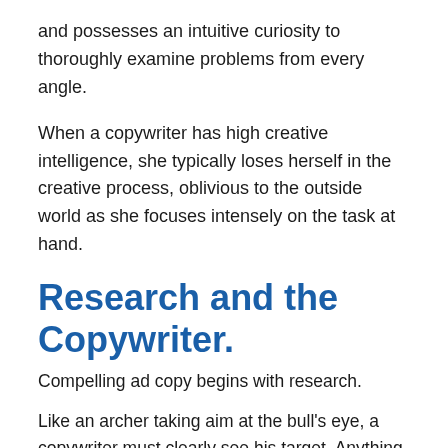and possesses an intuitive curiosity to thoroughly examine problems from every angle.
When a copywriter has high creative intelligence, she typically loses herself in the creative process, oblivious to the outside world as she focuses intensely on the task at hand.
Research and the Copywriter.
Compelling ad copy begins with research.
Like an archer taking aim at the bull's eye, a copywriter must clearly see his target. Anything less will only lead to disappointing results.